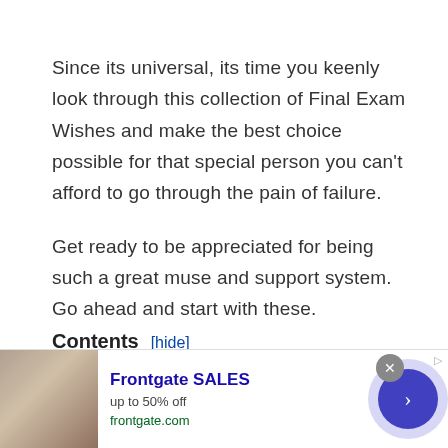Since its universal, its time you keenly look through this collection of Final Exam Wishes and make the best choice possible for that special person you can't afford to go through the pain of failure.
Get ready to be appreciated for being such a great muse and support system. Go ahead and start with these.
Contents [hide]
Final Exam Success Messages and Quotes
[Figure (screenshot): Advertisement banner for Frontgate SALES showing outdoor furniture and fire pit, with 'up to 50% off' text and frontgate.com URL, close button, and navigation arrow.]